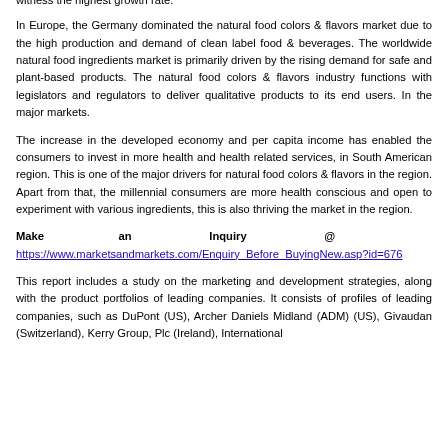witness the highest growth rate.
In Europe, the Germany dominated the natural food colors & flavors market due to the high production and demand of clean label food & beverages. The worldwide natural food ingredients market is primarily driven by the rising demand for safe and plant-based products. The natural food colors & flavors industry functions with legislators and regulators to deliver qualitative products to its end users. In the major markets.
The increase in the developed economy and per capita income has enabled the consumers to invest in more health and health related services, in South American region. This is one of the major drivers for natural food colors & flavors in the region. Apart from that, the millennial consumers are more health conscious and open to experiment with various ingredients, this is also thriving the market in the region.
Make an Inquiry @ https://www.marketsandmarkets.com/Enquiry_Before_BuyingNew.asp?id=676
This report includes a study on the marketing and development strategies, along with the product portfolios of leading companies. It consists of profiles of leading companies, such as DuPont (US), Archer Daniels Midland (ADM) (US), Givaudan (Switzerland), Kerry Group, Plc (Ireland), International